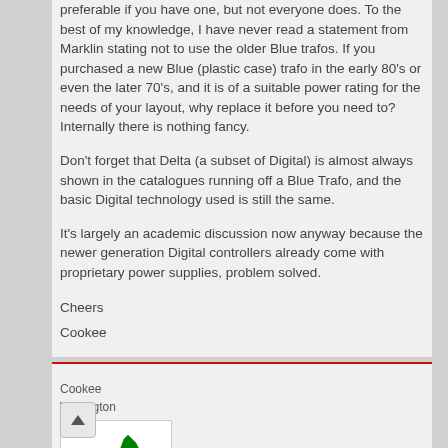preferable if you have one, but not everyone does. To the best of my knowledge, I have never read a statement from Marklin stating not to use the older Blue trafos. If you purchased a new Blue (plastic case) trafo in the early 80's or even the later 70's, and it is of a suitable power rating for the needs of your layout, why replace it before you need to? Internally there is nothing fancy.
Don't forget that Delta (a subset of Digital) is almost always shown in the catalogues running off a Blue Trafo, and the basic Digital technology used is still the same.
It's largely an academic discussion now anyway because the newer generation Digital controllers already come with proprietary power supplies, problem solved.
Cheers
Cookee
Cookee
Wellington
[Figure (map): Small map of New Zealand showing the country outline filled in green on a white background]